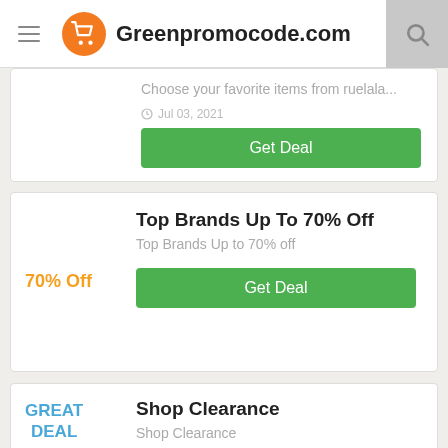Greenpromocode.com
Choose your favorite items from ruelala...
Jul 03, 2021
Get Deal
Top Brands Up To 70% Off
70% Off
Top Brands Up to 70% off
Get Deal
Shop Clearance
GREAT DEAL
Shop Clearance
Get Deal